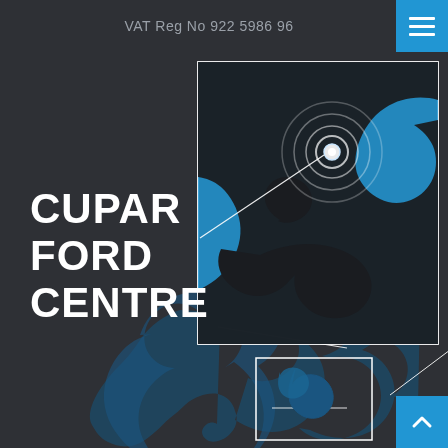VAT Reg No 922 5986 96
CUPAR FORD CENTRE
[Figure (map): Illustrated map showing Scotland silhouette in dark blue on dark background, with a zoomed-in box showing a geographic location detail with a blue background, a black silhouette of what appears to be a thumb/hand area on a map, and concentric circular target/pin marker in white and blue indicating the location of Cupar Ford Centre. A diagonal line connects the small reference box at bottom to the large zoomed view in the upper right.]